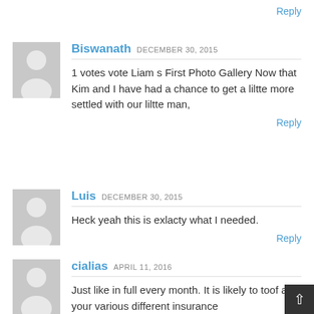Reply
Biswanath DECEMBER 30, 2015
1 votes vote Liam s First Photo Gallery Now that Kim and I have had a chance to get a liltte more settled with our liltte man,
Reply
Luis DECEMBER 30, 2015
Heck yeah this is exlacty what I needed.
Reply
cialias APRIL 11, 2016
Just like in full every month. It is likely to toof all your various different insurance